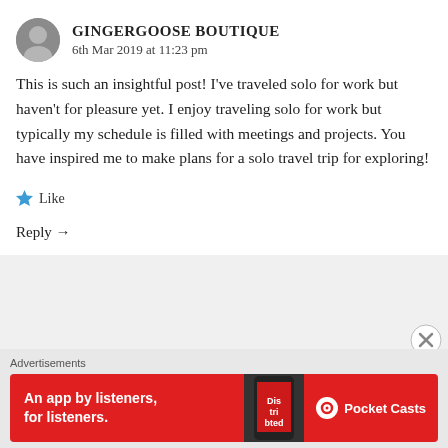[Figure (photo): Circular avatar photo of a person]
GINGERGOOSE BOUTIQUE
6th Mar 2019 at 11:23 pm
This is such an insightful post! I've traveled solo for work but haven't for pleasure yet. I enjoy traveling solo for work but typically my schedule is filled with meetings and projects. You have inspired me to make plans for a solo travel trip for exploring!
★ Like
Reply →
[Figure (illustration): Close button (X in circle) on right side]
Advertisements
[Figure (screenshot): Pocket Casts advertisement banner: An app by listeners, for listeners.]